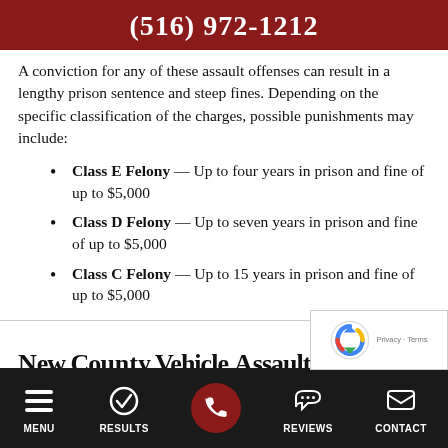(516) 972-1212
A conviction for any of these assault offenses can result in a lengthy prison sentence and steep fines. Depending on the specific classification of the charges, possible punishments may include:
Class E Felony — Up to four years in prison and fine of up to $5,000
Class D Felony — Up to seven years in prison and fine of up to $5,000
Class C Felony — Up to 15 years in prison and fine of up to $5,000
MENU | RESULTS | REVIEWS | CONTACT